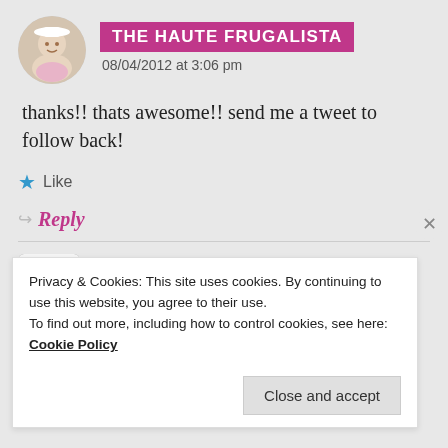[Figure (photo): Circular avatar photo of a woman in a white hat]
THE HAUTE FRUGALISTA
08/04/2012 at 3:06 pm
thanks!! thats awesome!! send me a tweet to follow back!
★ Like
↳ Reply
[Figure (logo): Small avatar/logo for Sinful Stilettos blog]
AVRILDONOHUE
Privacy & Cookies: This site uses cookies. By continuing to use this website, you agree to their use.
To find out more, including how to control cookies, see here:
Cookie Policy
Close and accept